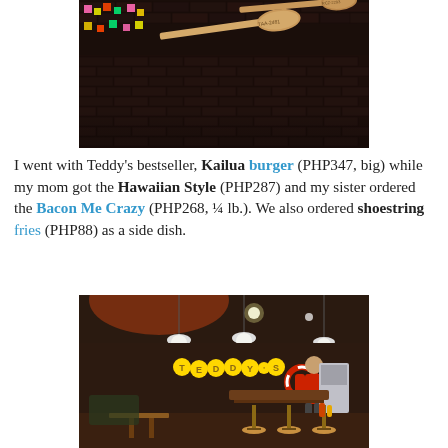[Figure (photo): Interior photo of a restaurant wall with dark brick tiles and colorful sticky notes tucked in, with two wooden paddle signs mounted on the wall, one reading 'TAA-2481']
I went with Teddy's bestseller, Kailua burger (PHP347, big) while my mom got the Hawaiian Style (PHP287) and my sister ordered the Bacon Me Crazy (PHP268, ¼ lb.). We also ordered shoestring fries (PHP88) as a side dish.
[Figure (photo): Interior photo of Teddy's burger restaurant showing dining area with bar stools, wooden tables, the Teddy's logo sign in yellow on the wall, pendant lights, and a staff member in red shirt]